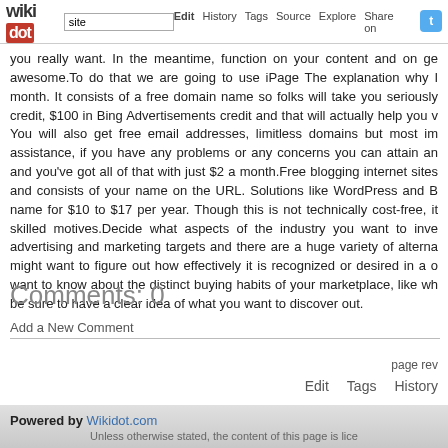wikidot | site | Edit | History | Tags | Source | Explore | Share on
you really want. In the meantime, function on your content and on ge awesome.To do that we are going to use iPage The explanation why I month. It consists of a free domain name so folks will take you seriously credit, $100 in Bing Advertisements credit and that will actually help you v You will also get free email addresses, limitless domains but most im assistance, if you have any problems or any concerns you can attain an and you've got all of that with just $2 a month.Free blogging internet sites and consists of your name on the URL. Solutions like WordPress and B name for $10 to $17 per year. Though this is not technically cost-free, it skilled motives.Decide what aspects of the industry you want to inve advertising and marketing targets and there are a huge variety of alterna might want to figure out how effectively it is recognized or desired in a o want to know about the distinct buying habits of your marketplace, like wh be sure to have a clear idea of what you want to discover out.
Comments: 0
Add a New Comment
page rev | Edit | Tags | History
Powered by Wikidot.com
Unless otherwise stated, the content of this page is lice